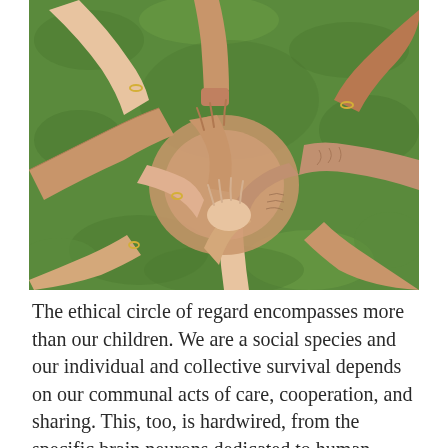[Figure (photo): Overhead view of multiple hands (adult and child) clasping each other's wrists in a circle, over green grass background. Several hands wear wedding rings.]
The ethical circle of regard encompasses more than our children. We are a social species and our individual and collective survival depends on our communal acts of care, cooperation, and sharing. This, too, is hardwired, from the specific brain neurons dedicated to human facial recognition, to neonates' innate ability to imitate others, to toddlers' preverbal appreciation of